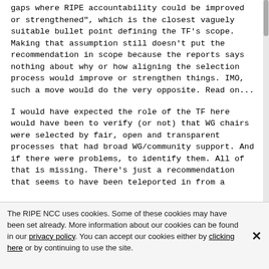gaps where RIPE accountability could be improved or strengthened", which is the closest vaguely suitable bullet point defining the TF's scope. Making that assumption still doesn't put the recommendation in scope because the reports says nothing about why or how aligning the selection process would improve or strengthen things. IMO, such a move would do the very opposite. Read on...
I would have expected the role of the TF here would have been to verify (or not) that WG chairs were selected by fair, open and transparent processes that had broad WG/community support. And if there were problems, to identify them. All of that is missing. There's just a recommendation that seems to have been teleported in from a
The RIPE NCC uses cookies. Some of these cookies may have been set already. More information about our cookies can be found in our privacy policy. You can accept our cookies either by clicking here or by continuing to use the site.